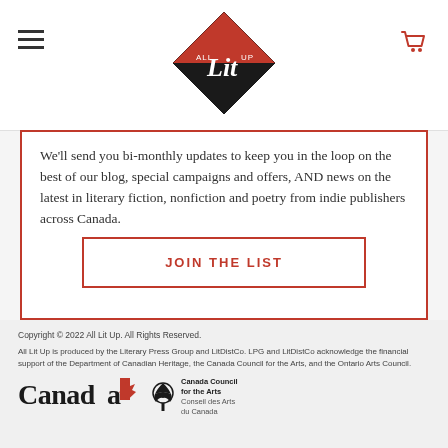[Figure (logo): All Lit Up diamond logo with stylized 'Lit' text, black and red design]
We'll send you bi-monthly updates to keep you in the loop on the best of our blog, special campaigns and offers, AND news on the latest in literary fiction, nonfiction and poetry from indie publishers across Canada.
JOIN THE LIST
Copyright © 2022 All Lit Up. All Rights Reserved.

All Lit Up is produced by the Literary Press Group and LitDistCo. LPG and LitDistCo acknowledge the financial support of the Department of Canadian Heritage, the Canada Council for the Arts, and the Ontario Arts Council.
[Figure (logo): Canada wordmark logo and Canada Council for the Arts / Conseil des Arts du Canada logo]